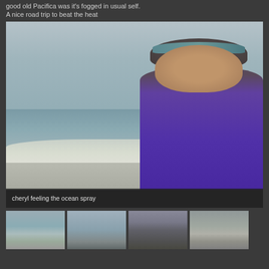good old Pacifica was it's fogged in usual self.
A nice road trip to beat the heat
[Figure (photo): Woman in purple hoodie and teal headband sitting near the ocean with waves and foggy sky in background at Pacifica beach]
cheryl feeling the ocean spray
[Figure (photo): Four thumbnail photos of beach scenes at Pacifica]